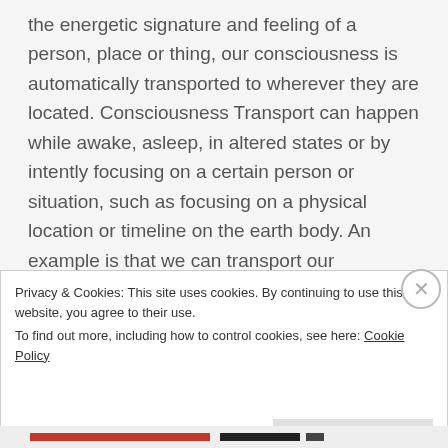the energetic signature and feeling of a person, place or thing, our consciousness is automatically transported to wherever they are located. Consciousness Transport can happen while awake, asleep, in altered states or by intently focusing on a certain person or situation, such as focusing on a physical location or timeline on the earth body. An example is that we can transport our consciousness energy when we hold intent to connect with a city, historical site, power spot or megalithic structure
Privacy & Cookies: This site uses cookies. By continuing to use this website, you agree to their use. To find out more, including how to control cookies, see here: Cookie Policy